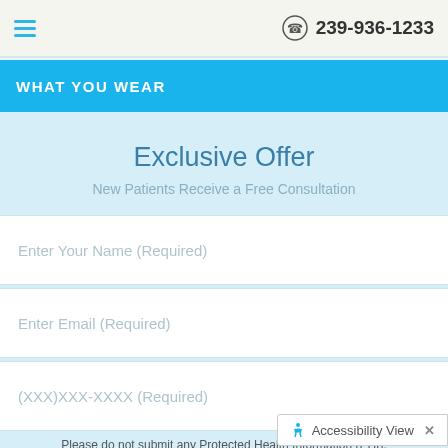239-936-1233
WHAT YOU WEAR
Exclusive Offer
New Patients Receive a Free Consultation
Enter Your Name (Required)
Enter Email (Required)
(XXX)XXX-XXXX (Required)
Please do not submit any Protected Health Information (PHI).
Accessibility View